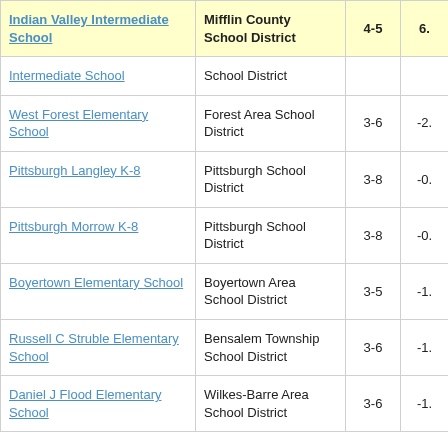| School | District | Grades | Score |
| --- | --- | --- | --- |
| Indian Valley Intermediate School | Mifflin County School District | 4-5 | 6. |
| Intermediate School | School District |  |  |
| West Forest Elementary School | Forest Area School District | 3-6 | -2. |
| Pittsburgh Langley K-8 | Pittsburgh School District | 3-8 | -0. |
| Pittsburgh Morrow K-8 | Pittsburgh School District | 3-8 | -0. |
| Boyertown Elementary School | Boyertown Area School District | 3-5 | -1. |
| Russell C Struble Elementary School | Bensalem Township School District | 3-6 | -1. |
| Daniel J Flood Elementary School | Wilkes-Barre Area School District | 3-6 | -1. |